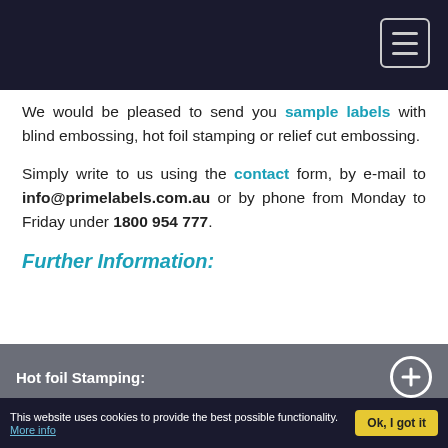[Figure (screenshot): Dark navigation bar with hamburger menu icon in top right corner]
We would be pleased to send you sample labels with blind embossing, hot foil stamping or relief cut embossing.
Simply write to us using the contact form, by e-mail to info@primelabels.com.au or by phone from Monday to Friday under 1800 954 777.
Further Information:
Hot foil Stamping:
Design Service for Labels:
Customer Service
This website uses cookies to provide the best possible functionality. More info  Ok, I got it